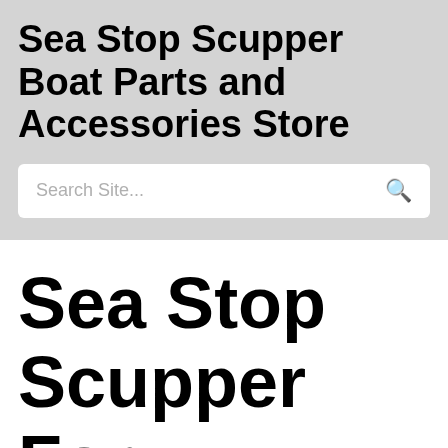Sea Stop Scupper Boat Parts and Accessories Store
Search Site...
Sea Stop Scupper For